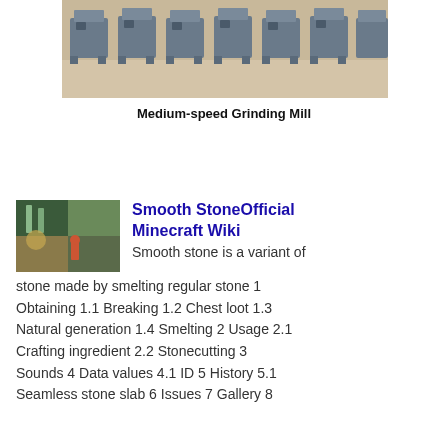[Figure (photo): Photograph of a row of medium-speed grinding mill machines on a factory floor, grey industrial equipment lined up against a wall.]
Medium-speed Grinding Mill
[Figure (photo): Thumbnail image showing industrial mineral processing equipment and machinery, with green and yellow tones.]
Smooth StoneOfficial Minecraft Wiki
Smooth stone is a variant of stone made by smelting regular stone 1 Obtaining 1.1 Breaking 1.2 Chest loot 1.3 Natural generation 1.4 Smelting 2 Usage 2.1 Crafting ingredient 2.2 Stonecutting 3 Sounds 4 Data values 4.1 ID 5 History 5.1 Seamless stone slab 6 Issues 7 Gallery 8